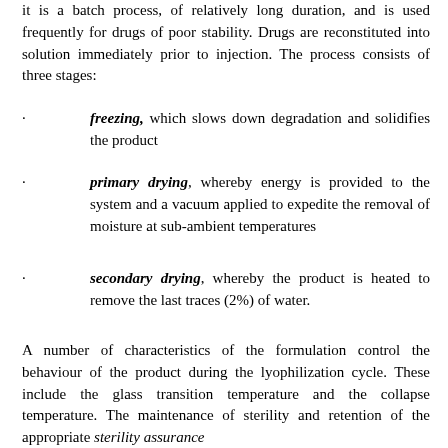it is a batch process, of relatively long duration, and is used frequently for drugs of poor stability. Drugs are reconstituted into solution immediately prior to injection. The process consists of three stages:
freezing, which slows down degradation and solidifies the product
primary drying, whereby energy is provided to the system and a vacuum applied to expedite the removal of moisture at sub-ambient temperatures
secondary drying, whereby the product is heated to remove the last traces (2%) of water.
A number of characteristics of the formulation control the behaviour of the product during the lyophilization cycle. These include the glass transition temperature and the collapse temperature. The maintenance of sterility and retention of the appropriate sterility assurance